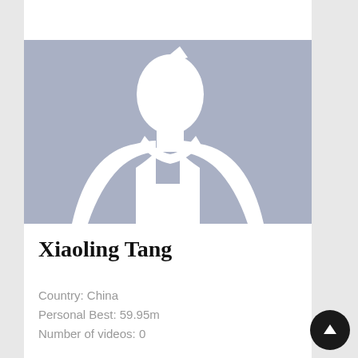[Figure (photo): Default profile silhouette placeholder image on a blue-grey background showing a white human head and shoulders outline]
Xiaoling Tang
Country: China
Personal Best: 59.95m
Number of videos: 0